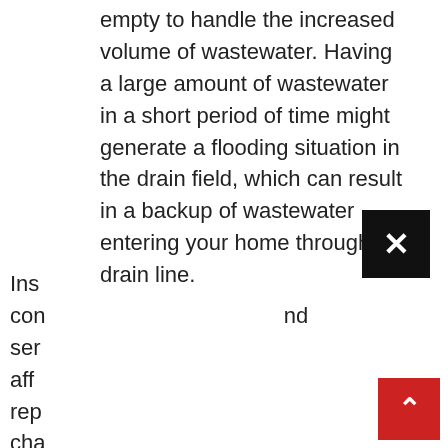empty to handle the increased volume of wastewater. Having a large amount of wastewater in a short period of time might generate a flooding situation in the drain field, which can result in a backup of wastewater entering your home through the drain line.
Ins
con nd
ser
aff
rep
cha
con
bet as
the